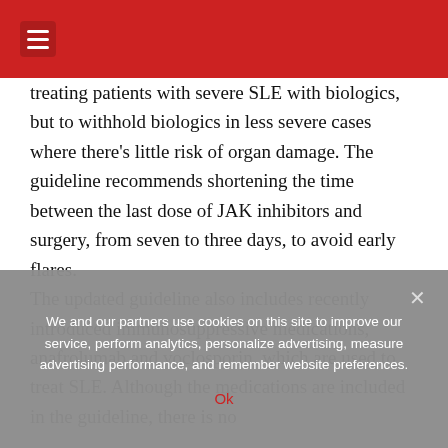☰
treating patients with severe SLE with biologics, but to withhold biologics in less severe cases where there's little risk of organ damage. The guideline recommends shortening the time between the last dose of JAK inhibitors and surgery, from seven to three days, to avoid early flares.
The updated guideline also includes recently introduced immunosuppressive medications, anafrolumab and voclosporin, which are used to treat SLE. Although the medications are included in the guideline, there is no
We and our partners use cookies on this site to improve our service, perform analytics, personalize advertising, measure advertising performance, and remember website preferences.
Ok